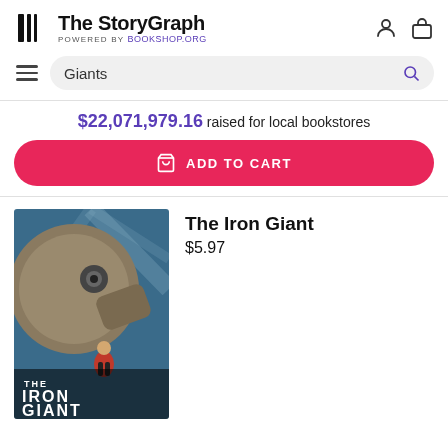The StoryGraph POWERED BY Bookshop.org
Giants (search query)
$22,071,979.16 raised for local bookstores
ADD TO CART
[Figure (photo): Book/movie cover for The Iron Giant Signature Edition showing a large metallic robot and a small boy against a blue background]
The Iron Giant
$5.97